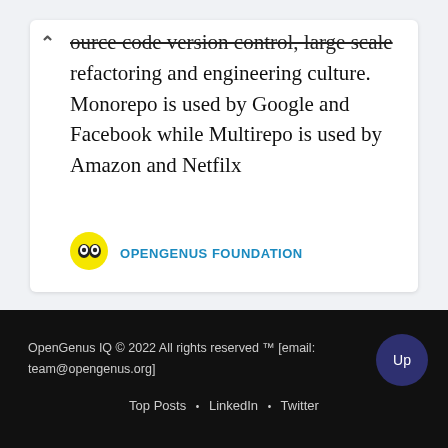ource code version control, large scale refactoring and engineering culture. Monorepo is used by Google and Facebook while Multirepo is used by Amazon and Netfilx
OPENGENUS FOUNDATION
OpenGenus IQ © 2022 All rights reserved ™ [email: team@opengenus.org]
Top Posts · LinkedIn · Twitter